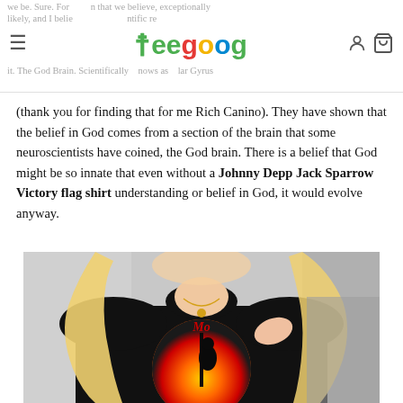we be. Sure. For ... that we believe, exceptionally likely, and I believe ... ntific r... it. The God Brain. Scientifically known as ... lar Gyrus (thank you for finding that for me Rich Canino). Teegoog
(thank you for finding that for me Rich Canino). They have shown that the belief in God comes from a section of the brain that some neuroscientists have coined, the God brain. There is a belief that God might be so innate that even without a Johnny Depp Jack Sparrow Victory flag shirt understanding or belief in God, it would evolve anyway.
[Figure (photo): Woman with blonde hair wearing a black t-shirt featuring a Johnny Depp Jack Sparrow Victory flag design with a sunset/orange circular graphic showing a silhouette figure. She is also wearing a gold necklace and a grey cardigan.]